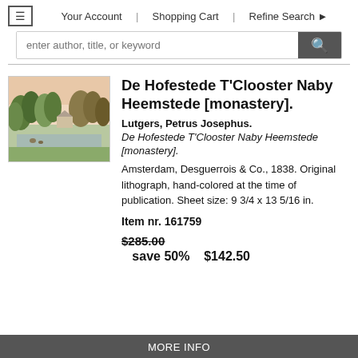≡  Your Account  |  Shopping Cart  |  Refine Search ▶
enter author, title, or keyword
De Hofestede T'Clooster Naby Heemstede [monastery].
Lutgers, Petrus Josephus.
De Hofestede T'Clooster Naby Heemstede [monastery].
Amsterdam, Desguerrois & Co., 1838. Original lithograph, hand-colored at the time of publication. Sheet size: 9 3/4 x 13 5/16 in.
Item nr. 161759
$285.00  save 50%  $142.50
MORE INFO